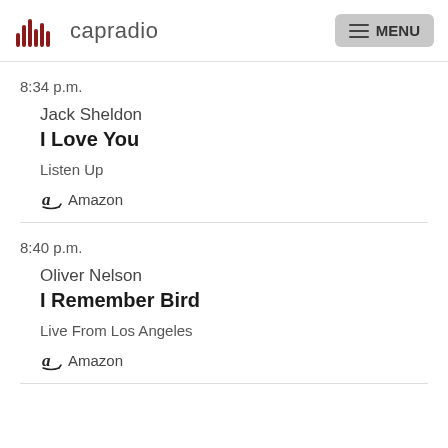capradio MENU
8:34 p.m.
Jack Sheldon
I Love You
Listen Up
Amazon
8:40 p.m.
Oliver Nelson
I Remember Bird
Live From Los Angeles
Amazon